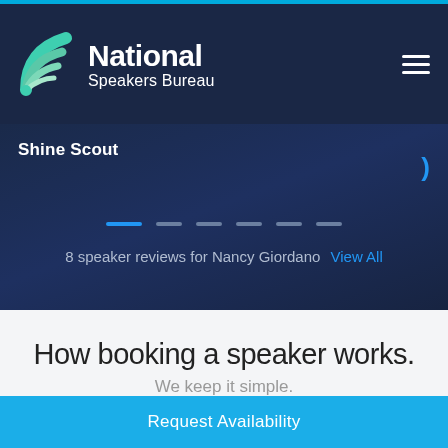[Figure (logo): National Speakers Bureau logo with teal wave/fan icon and white text on dark navy background]
Shine Scout
[Figure (other): Carousel pagination dots — one active blue dot followed by five smaller grey dots]
8 speaker reviews for Nancy Giordano  View All
How booking a speaker works.
We keep it simple.
Request Availability